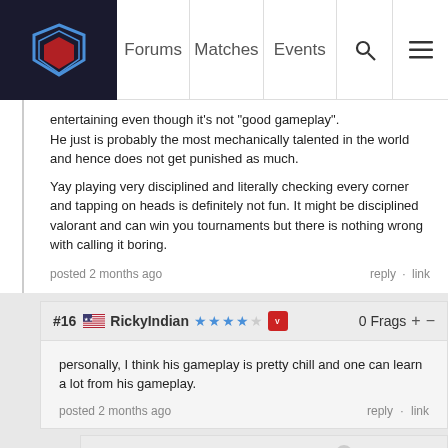Forums | Matches | Events
entertaining even though it's not "good gameplay".
He just is probably the most mechanically talented in the world and hence does not get punished as much.

Yay playing very disciplined and literally checking every corner and tapping on heads is definitely not fun. It might be disciplined valorant and can win you tournaments but there is nothing wrong with calling it boring.

posted 2 months ago   reply · link
#16 RickyIndian 0 Frags + -
personally, I think his gameplay is pretty chill and one can learn a lot from his gameplay.
posted 2 months ago   reply · link
#17 SnooTangerines 1 Frags + -
Once again, you learning from his gameplay is not equivalent to entertainment.
Ask yourself, for a general audience...